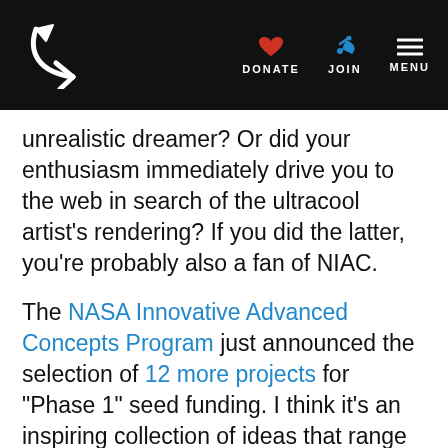Planetary Society — DONATE JOIN MENU
unrealistic dreamer?  Or did your enthusiasm immediately drive you to the web in search of the ultracool artist's rendering?  If you did the latter, you're probably also a fan of NIAC.
The NASA Innovative Advanced Concepts Program just announced the selection of 12 more projects for "Phase 1" seed funding.  I think it's an inspiring collection of ideas that range from moderately crazy to "Why didn't I think of that?"  Longtime PlanRad listeners will remember my conversation with NIAC